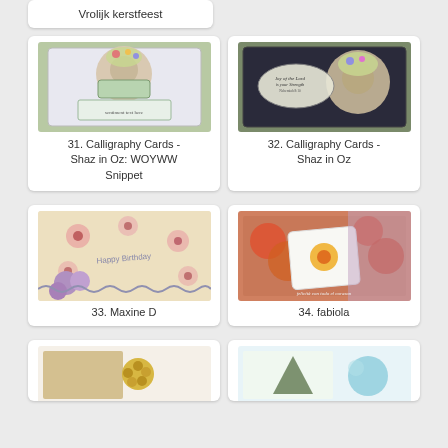Vrolijk kerstfeest
[Figure (photo): Handmade greeting card with a cat holding flowers, calligraphy style]
31. Calligraphy Cards - Shaz in Oz: WOYWW Snippet
[Figure (photo): Handmade greeting card with a cat holding flowers, calligraphy style, with text 'Joy of the Lord is your Strength']
32. Calligraphy Cards - Shaz in Oz
[Figure (photo): Handmade birthday card with floral pattern and purple flower embellishment]
33. Maxine D
[Figure (photo): Handmade card with orange floral motif on colorful background]
34. fabiola
[Figure (photo): Partial view of a handmade card with gold embellishment]
[Figure (photo): Partial view of a handmade card with blue circular element]